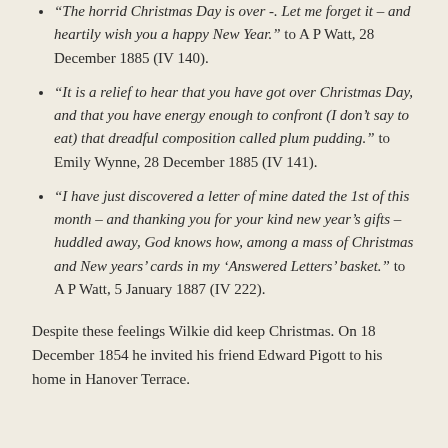“The horrid Christmas Day is over -. Let me forget it – and heartily wish you a happy New Year.” to A P Watt, 28 December 1885 (IV 140).
“It is a relief to hear that you have got over Christmas Day, and that you have energy enough to confront (I don’t say to eat) that dreadful composition called plum pudding.” to Emily Wynne, 28 December 1885 (IV 141).
“I have just discovered a letter of mine dated the 1st of this month – and thanking you for your kind new year’s gifts – huddled away, God knows how, among a mass of Christmas and New years’ cards in my ‘Answered Letters’ basket.” to A P Watt, 5 January 1887 (IV 222).
Despite these feelings Wilkie did keep Christmas. On 18 December 1854 he invited his friend Edward Pigott to his home in Hanover Terrace.